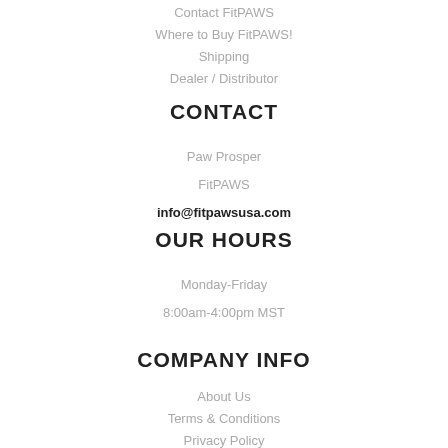Contact FitPAWS
Where to Buy FitPAWS!
Shipping
Dealer / Distributor
CONTACT
Paw Prosper
FitPAWS
info@fitpawsusa.com
OUR HOURS
Monday-Friday
8:00am-4:00pm MST
COMPANY INFO
About Us
Terms & Conditions
Privacy Policy